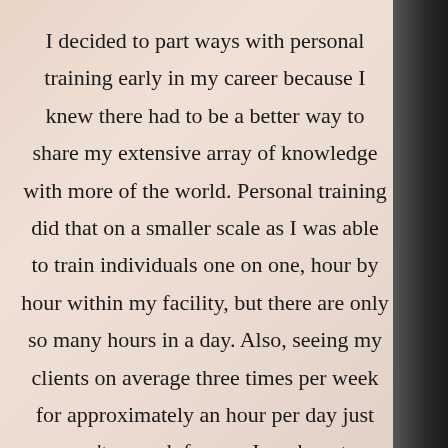I decided to part ways with personal training early in my career because I knew there had to be a better way to share my extensive array of knowledge with more of the world. Personal training did that on a smaller scale as I was able to train individuals one on one, hour by hour within my facility, but there are only so many hours in a day. Also, seeing my clients on average three times per week for approximately an hour per day just wasn't enough for me. I am here to change lives and frequent accountability is a must. So I didn't